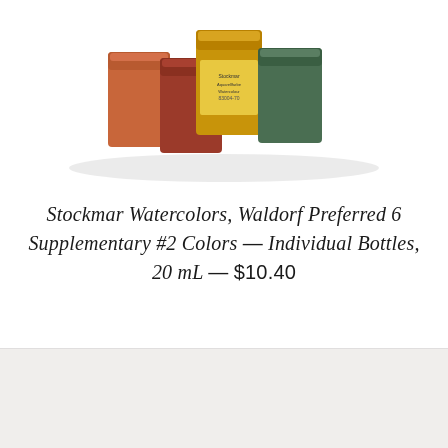[Figure (photo): Multiple small cylindrical watercolor paint bottles/jars arranged together, showing various colors including orange, red, yellow-gold, and dark green, photographed from above at slight angle against white background]
Stockmar Watercolors, Waldorf Preferred 6 Supplementary #2 Colors — Individual Bottles, 20 mL — $10.40
[Figure (photo): Light gray/off-white background panel, appears to be lower portion of a product page image area]